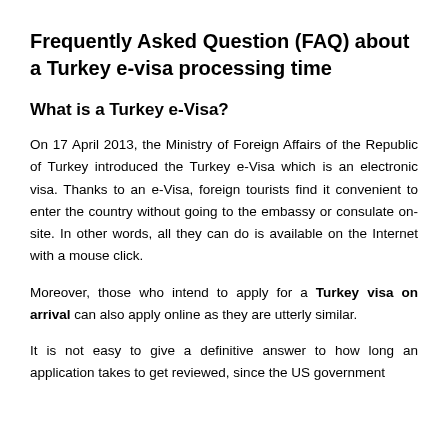Frequently Asked Question (FAQ) about a Turkey e-visa processing time
What is a Turkey e-Visa?
On 17 April 2013, the Ministry of Foreign Affairs of the Republic of Turkey introduced the Turkey e-Visa which is an electronic visa. Thanks to an e-Visa, foreign tourists find it convenient to enter the country without going to the embassy or consulate on-site. In other words, all they can do is available on the Internet with a mouse click.
Moreover, those who intend to apply for a Turkey visa on arrival can also apply online as they are utterly similar.
It is not easy to give a definitive answer to how long an application takes to get reviewed, since the US government